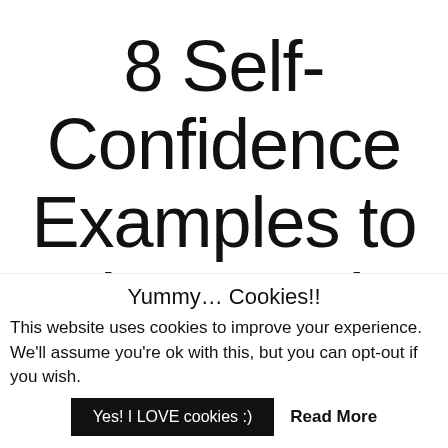8 Self-Confidence Examples to Help You Live
Yummy… Cookies!!
This website uses cookies to improve your experience. We'll assume you're ok with this, but you can opt-out if you wish.
Yes! I LOVE cookies :)   Read More